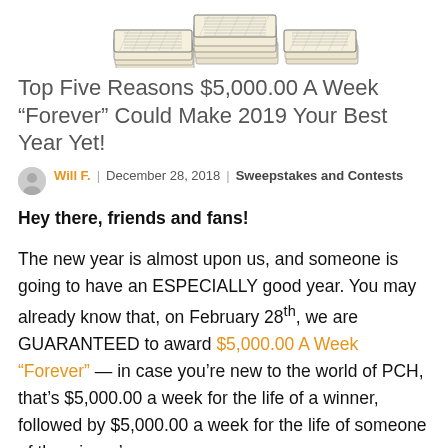[Figure (illustration): Illustrated stacks of money/cash bills drawn in a sketch style]
Top Five Reasons $5,000.00 A Week "Forever" Could Make 2019 Your Best Year Yet!
Will F. | December 28, 2018 | Sweepstakes and Contests
Hey there, friends and fans!
The new year is almost upon us, and someone is going to have an ESPECIALLY good year. You may already know that, on February 28th, we are GUARANTEED to award $5,000.00 A Week "Forever" — in case you're new to the world of PCH, that's $5,000.00 a week for the life of a winner, followed by $5,000.00 a week for the life of someone of the winner's